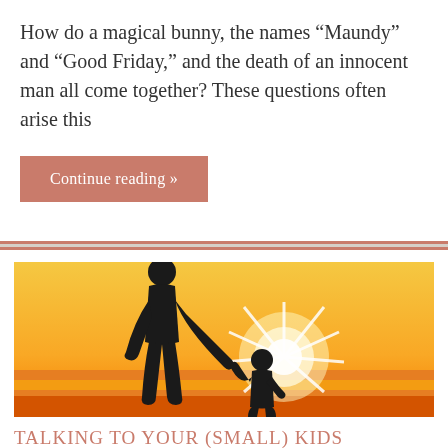How do a magical bunny, the names “Maundy” and “Good Friday,” and the death of an innocent man all come together? These questions often arise this
Continue reading »
[Figure (illustration): Silhouette of an adult and child holding hands against a bright sunburst on a golden/yellow background with horizon line]
TALKING TO YOUR (SMALL) KIDS